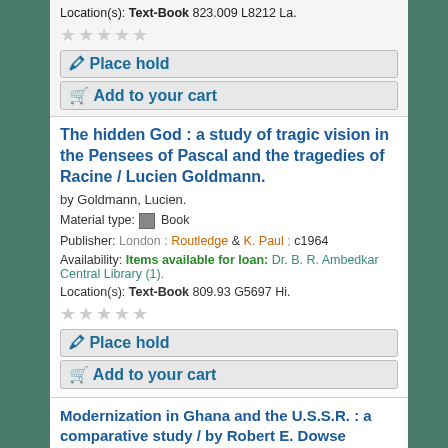Location(s): Text-Book 823.009 L8212 La.
[Figure (other): Five grey star rating icons (empty/unselected)]
Place hold
Add to your cart
The hidden God : a study of tragic vision in the Pensees of Pascal and the tragedies of Racine / Lucien Goldmann.
by Goldmann, Lucien.
Material type: Book
Publisher: London : Routledge & K. Paul ; c1964
Availability: Items available for loan: Dr. B. R. Ambedkar Central Library (1).
Location(s): Text-Book 809.93 G5697 Hi.
[Figure (other): Five grey star rating icons (empty/unselected)]
Place hold
Add to your cart
Modernization in Ghana and the U.S.S.R. : a comparative study / by Robert E. Dowse